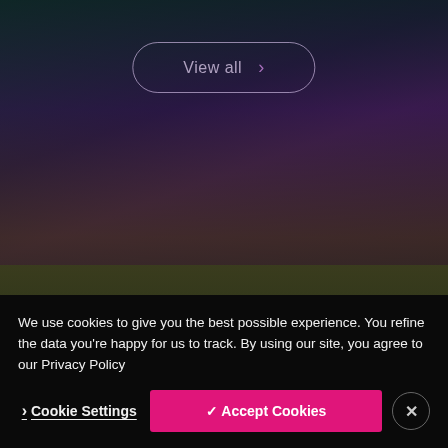[Figure (screenshot): Dark gradient background with teal, purple and olive tones forming the page backdrop]
View all >
Burges Salmon careers
We work hard to make sure Burges Salmon is a great place to work.
We use cookies to give you the best possible experience. You refine the data you're happy for us to track. By using our site, you agree to our Privacy Policy
Cookie Settings
✓ Accept Cookies